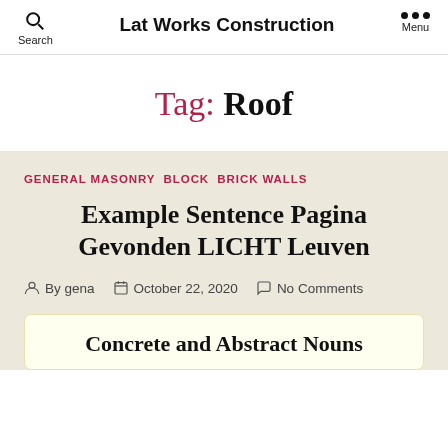Lat Works Construction
Tag: Roof
GENERAL MASONRY  BLOCK  BRICK WALLS
Example Sentence Pagina Gevonden LICHT Leuven
By gena  October 22, 2020  No Comments
Concrete and Abstract Nouns